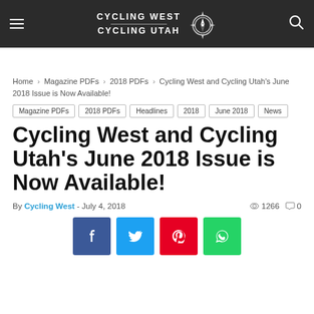CYCLING WEST CYCLING UTAH
Home > Magazine PDFs > 2018 PDFs > Cycling West and Cycling Utah's June 2018 Issue is Now Available!
Magazine PDFs | 2018 PDFs | Headlines | 2018 | June 2018 | News
Cycling West and Cycling Utah's June 2018 Issue is Now Available!
By Cycling West - July 4, 2018  1266  0
[Figure (infographic): Social share buttons: Facebook (blue), Twitter (cyan), Pinterest (red), WhatsApp (green)]